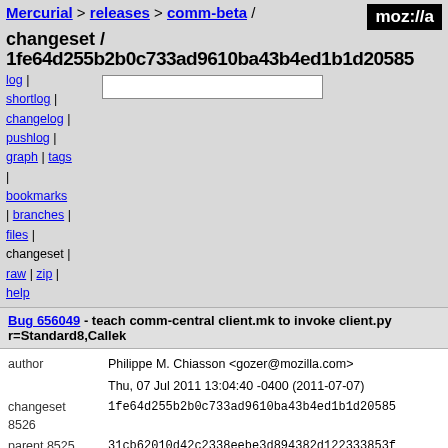Mercurial > releases > comm-beta / changeset /
1fe64d255b2b0c733ad9610ba43b4ed1b1d20585
log | shortlog | changelog | pushlog | graph | tags | bookmarks | branches | files | changeset | raw | zip | help
Bug 656049 - teach comm-central client.mk to invoke client.py r=Standard8,Callek
| field | value |
| --- | --- |
| author | Philippe M. Chiasson <gozer@mozilla.com> |
|  | Thu, 07 Jul 2011 13:04:40 -0400 (2011-07-07) |
| changeset 8526 | 1fe64d255b2b0c733ad9610ba43b4ed1b1d20585 |
| parent 8525 | 31cb62010d42c2338eebe3d894382d122333853f |
| child 8527 | 9b9d32bb5fd2b497cc3351a3cf6ef0f849b2cec9 |
| push id | 158 |
| push user | bugzilla@standard8.plus.com |
| push date | Tue, 27 Sep 2011 19:18:14 +0000 (2011-09-27) |